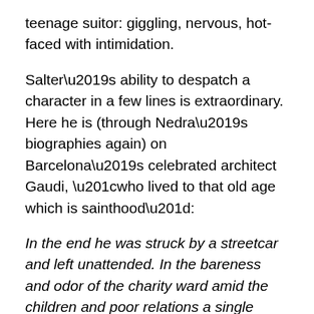teenage suitor: giggling, nervous, hot-faced with intimidation.
Salter’s ability to despatch a character in a few lines is extraordinary. Here he is (through Nedra’s biographies again) on Barcelona’s celebrated architect Gaudi, “who lived to that old age which is sainthood”:
In the end he was struck by a streetcar and left unattended. In the bareness and odor of the charity ward amid the children and poor relations a single eccentric life was ending, a life that was more clamorous than the sea, an everlasting life, a life which was easy to abandon since it was only a husk; it had already metamorphosed, escaped into buildings, cathedrals, legend.
Elsewhere, the writing put me in mind of Updike or Bellow